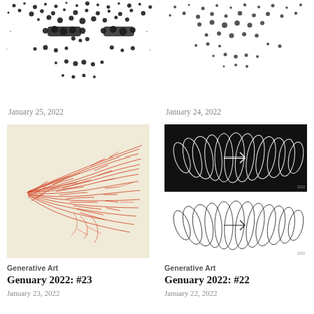[Figure (illustration): Halftone dot portrait of a face, top-left]
January 25, 2022
[Figure (illustration): Halftone dot portrait, top-right]
January 24, 2022
[Figure (illustration): Red generative flow lines on beige background]
Generative Art
Genuary 2022: #23
January 23, 2022
[Figure (illustration): White spiral/ellipse generative art on black background and black on white below]
Generative Art
Genuary 2022: #22
January 22, 2022